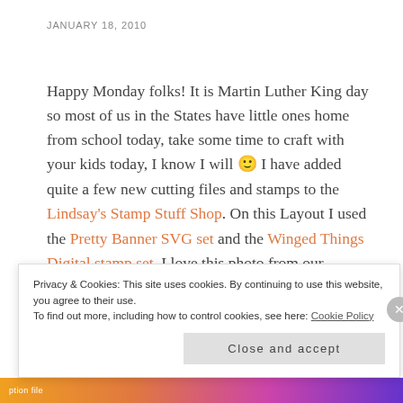JANUARY 18, 2010
Happy Monday folks! It is Martin Luther King day so most of us in the States have little ones home from school today, take some time to craft with your kids today, I know I will 🙂 I have added quite a few new cutting files and stamps to the Lindsay's Stamp Stuff Shop. On this Layout I used the Pretty Banner SVG set and the Winged Things Digital stamp set. I love this photo from our wedding:
[Figure (photo): Partial view of a wedding photo, cropped at top of cookie banner]
Privacy & Cookies: This site uses cookies. By continuing to use this website, you agree to their use.
To find out more, including how to control cookies, see here: Cookie Policy

Close and accept